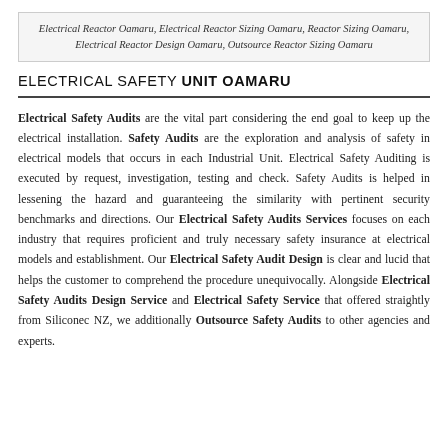Electrical Reactor Oamaru, Electrical Reactor Sizing Oamaru, Reactor Sizing Oamaru, Electrical Reactor Design Oamaru, Outsource Reactor Sizing Oamaru
ELECTRICAL SAFETY UNIT OAMARU
Electrical Safety Audits are the vital part considering the end goal to keep up the electrical installation. Safety Audits are the exploration and analysis of safety in electrical models that occurs in each Industrial Unit. Electrical Safety Auditing is executed by request, investigation, testing and check. Safety Audits is helped in lessening the hazard and guaranteeing the similarity with pertinent security benchmarks and directions. Our Electrical Safety Audits Services focuses on each industry that requires proficient and truly necessary safety insurance at electrical models and establishment. Our Electrical Safety Audit Design is clear and lucid that helps the customer to comprehend the procedure unequivocally. Alongside Electrical Safety Audits Design Service and Electrical Safety Service that offered straightly from Siliconec NZ, we additionally Outsource Safety Audits to other agencies and experts.